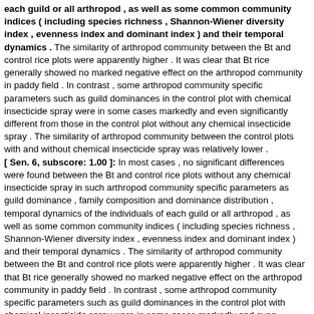each guild or all arthropod , as well as some common community indices ( including species richness , Shannon-Wiener diversity index , evenness index and dominant index ) and their temporal dynamics . The similarity of arthropod community between the Bt and control rice plots were apparently higher . It was clear that Bt rice generally showed no marked negative effect on the arthropod community in paddy field . In contrast , some arthropod community specific parameters such as guild dominances in the control plot with chemical insecticide spray were in some cases markedly and even significantly different from those in the control plot without any chemical insecticide spray . The similarity of arthropod community between the control plots with and without chemical insecticide spray was relatively lower . [ Sen. 6, subscore: 1.00 ]: In most cases , no significant differences were found between the Bt and control rice plots without any chemical insecticide spray in such arthropod community specific parameters as guild dominance , family composition and dominance distribution , temporal dynamics of the individuals of each guild or all arthropod , as well as some common community indices ( including species richness , Shannon-Wiener diversity index , evenness index and dominant index ) and their temporal dynamics . The similarity of arthropod community between the Bt and control rice plots were apparently higher . It was clear that Bt rice generally showed no marked negative effect on the arthropod community in paddy field . In contrast , some arthropod community specific parameters such as guild dominances in the control plot with chemical insecticide spray were in some cases markedly and even significantly different from those in the control plot without any chemical insecticide spray . The similarity of arthropod community between the control plots with and without chemical insecticide spray was relatively lower . It could be concluded that the effect of Bt rice on the arthropod community was apparently lower than that of